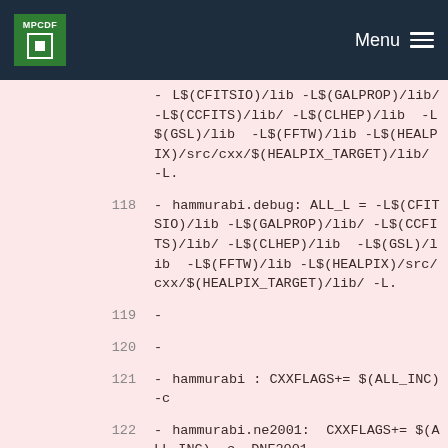MPCDF Menu
- L$(CFITSIO)/lib -L$(GALPROP)/lib/ -L$(CCFITS)/lib/ -L$(CLHEP)/lib  -L$(GSL)/lib  -L$(FFTW)/lib -L$(HEALPIX)/src/cxx/$(HEALPIX_TARGET)/lib/ -L.
118 - hammurabi.debug: ALL_L = -L$(CFITSIO)/lib -L$(GALPROP)/lib/ -L$(CCFITS)/lib/ -L$(CLHEP)/lib  -L$(GSL)/lib  -L$(FFTW)/lib -L$(HEALPIX)/src/cxx/$(HEALPIX_TARGET)/lib/ -L.
119 -
120 -
121 - hammurabi : CXXFLAGS+= $(ALL_INC) -c
122 - hammurabi.ne2001:  CXXFLAGS+= $(ALL_INC) -c -DNE2001
123 - hammurabi.galprop:  CXXFLAGS+= $(ALL_INC) -c -DGALDEF_PATH="./GALDEF" -